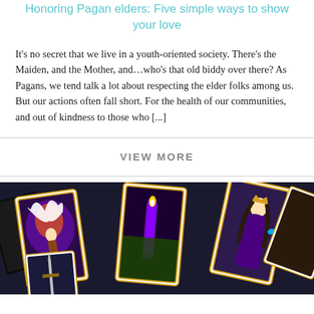Honoring Pagan elders: Five simple ways to show your love
It's no secret that we live in a youth-oriented society. There's the Maiden, and the Mother, and...who's that old biddy over there? As Pagans, we tend talk a lot about respecting the elder folks among us. But our actions often fall short. For the health of our communities, and out of kindness to those who [...]
VIEW MORE
[Figure (photo): A spread of colorful tarot cards fanned out, featuring fantasy artwork including a winged figure, a woman with a candle, and a queen-like figure holding a butterfly]